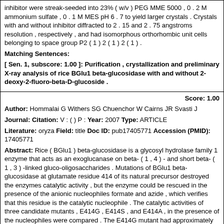inhibitor were streak-seeded into 23% ( w/v ) PEG MME 5000 , 0 . 2 M ammonium sulfate , 0 . 1 M MES pH 6 . 7 to yield larger crystals . Crystals with and without inhibitor diffracted to 2 . 15 and 2 . 75 angstroms resolution , respectively , and had isomorphous orthorhombic unit cells belonging to space group P2 ( 1 ) 2 ( 1 ) 2 ( 1 ) .
Matching Sentences:
[ Sen. 1, subscore: 1.00 ]: Purification , crystallization and preliminary X-ray analysis of rice BGlu1 beta-glucosidase with and without 2-deoxy-2-fluoro-beta-D-glucoside .
Score: 1.00
Author: Hommalai G Withers SG Chuenchor W Cairns JR Svasti J
Journal: Citation: V : ( ) P : Year: 2007 Type: ARTICLE
Literature: oryza Field: title Doc ID: pub17405771 Accession (PMID): 17405771
Abstract: Rice ( BGlu1 ) beta-glucosidase is a glycosyl hydrolase family 1 enzyme that acts as an exoglucanase on beta- ( 1 , 4 ) - and short beta- ( 1 , 3 ) -linked gluco-oligosaccharides . Mutations of BGlu1 beta-glucosidase at glutamate residue 414 of its natural precursor destroyed the enzymes catalytic activity , but the enzyme could be rescued in the presence of the anionic nucleophiles formate and azide , which verifies that this residue is the catalytic nucleophile . The catalytic activities of three candidate mutants , E414G , E414S , and E414A , in the presence of the nucleophiles were compared . The E414G mutant had approximately 25 and 1400-fold higher catalytic efficiency than E414A and E414S , respectively . All three mutants could catalyze the synthesis of mixed length oligosaccharides by transglucosylation , when alpha-glucosyl fluoride was used as donor and pNP-cellobioside as acceptor .